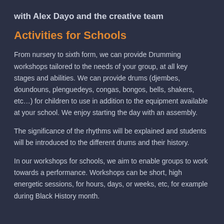with Alex Dayo and the creative team
Activities for Schools
From nursery to sixth form, we can provide Drumming workshops tailored to the needs of your group, at all key stages and abilities. We can provide drums (djembes, doundouns, plenguedeys, congas, bongos, bells, shakers, etc…) for children to use in addition to the equipment available at your school. We enjoy starting the day with an assembly.
The significance of the rhythms will be explained and students will be introduced to the different drums and their history.
In our workshops for schools, we aim to enable groups to work towards a performance. Workshops can be short, high energetic sessions, for hours, days, or weeks, etc, for example during Black History month.